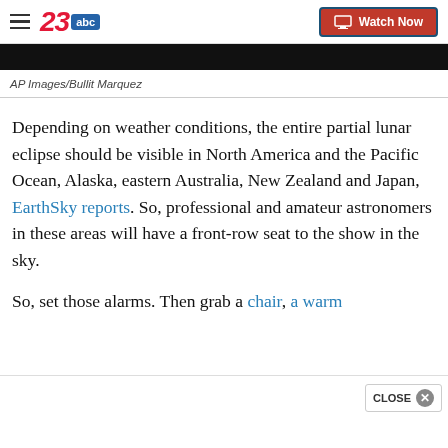23abc — Watch Now
[Figure (photo): Dark image bar at top of article]
AP Images/Bullit Marquez
Depending on weather conditions, the entire partial lunar eclipse should be visible in North America and the Pacific Ocean, Alaska, eastern Australia, New Zealand and Japan, EarthSky reports. So, professional and amateur astronomers in these areas will have a front-row seat to the show in the sky.
So, set those alarms. Then grab a chair, a warm